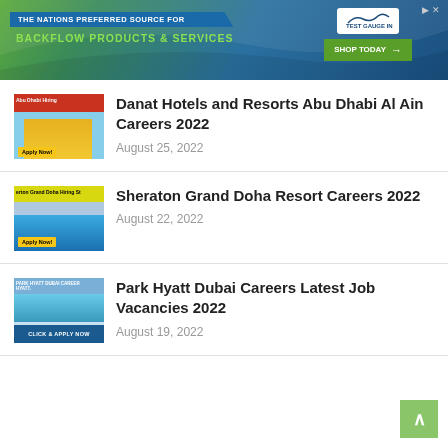[Figure (infographic): Banner advertisement for Test Gauge Inc - The Nations Preferred Source for Backflow Products & Services with Shop Today button]
Danat Hotels and Resorts Abu Dhabi Al Ain Careers 2022
August 25, 2022
Sheraton Grand Doha Resort Careers 2022
August 22, 2022
Park Hyatt Dubai Careers Latest Job Vacancies 2022
August 19, 2022